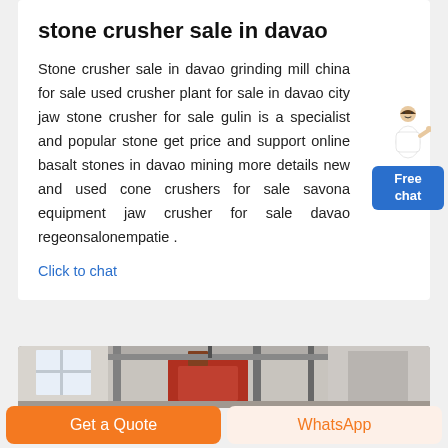stone crusher sale in davao
Stone crusher sale in davao grinding mill china for sale used crusher plant for sale in davao city jaw stone crusher for sale gulin is a specialist and popular stone get price and support online basalt stones in davao mining more details new and used cone crushers for sale savona equipment jaw crusher for sale davao regeonsalonempatie .
Click to chat
[Figure (photo): Industrial facility interior showing machinery and warehouse structure]
Get a Quote
WhatsApp